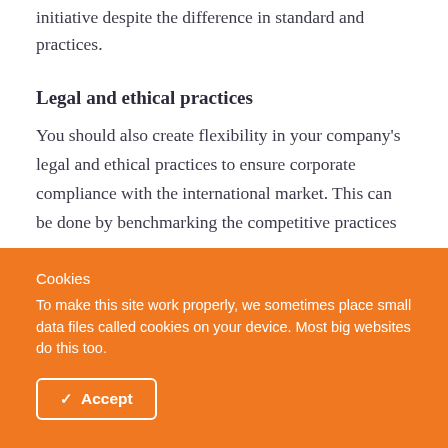initiative despite the difference in standard and practices.
Legal and ethical practices
You should also create flexibility in your company's legal and ethical practices to ensure corporate compliance with the international market. This can be done by benchmarking the competitive practices
Cookies
To make this site work properly, we sometimes place small data files called cookies on your device. Most big websites do this too.
Accept